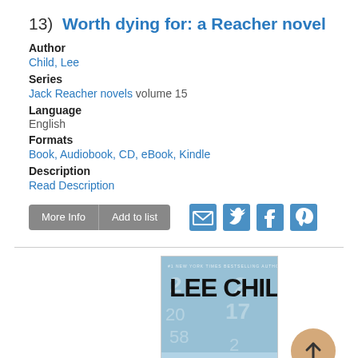13)  Worth dying for: a Reacher novel
Author
Child, Lee
Series
Jack Reacher novels volume 15
Language
English
Formats
Book, Audiobook, CD, eBook, Kindle
Description
Read Description
[Figure (screenshot): Buttons: More Info, Add to list, and social icons for email, Twitter, Facebook, Pinterest]
[Figure (photo): Book cover of 'Worth Dying For' by Lee Child, a Reacher novel. Blue-toned cover with large text 'LEE CHILD' and numbers visible in background.]